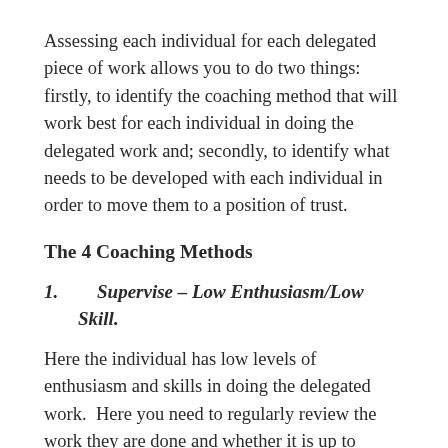Assessing each individual for each delegated piece of work allows you to do two things: firstly, to identify the coaching method that will work best for each individual in doing the delegated work and; secondly, to identify what needs to be developed with each individual in order to move them to a position of trust.
The 4 Coaching Methods
1.    Supervise – Low Enthusiasm/Low Skill.
Here the individual has low levels of enthusiasm and skills in doing the delegated work.  Here you need to regularly review the work they are done and whether it is up to